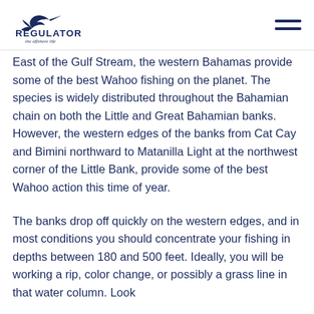REGULATOR the offshore life
East of the Gulf Stream, the western Bahamas provide some of the best Wahoo fishing on the planet. The species is widely distributed throughout the Bahamian chain on both the Little and Great Bahamian banks. However, the western edges of the banks from Cat Cay and Bimini northward to Matanilla Light at the northwest corner of the Little Bank, provide some of the best Wahoo action this time of year.
The banks drop off quickly on the western edges, and in most conditions you should concentrate your fishing in depths between 180 and 500 feet. Ideally, you will be working a rip, color change, or possibly a grass line in that water column. Look